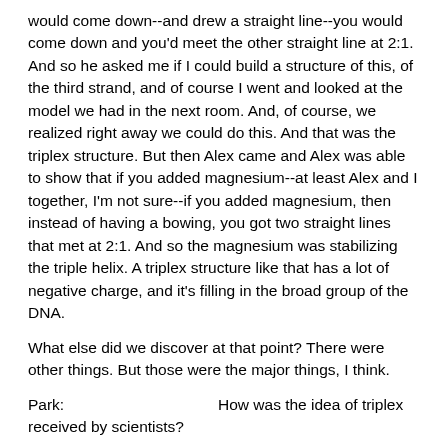would come down--and drew a straight line--you would come down and you'd meet the other straight line at 2:1. And so he asked me if I could build a structure of this, of the third strand, and of course I went and looked at the model we had in the next room. And, of course, we realized right away we could do this. And that was the triplex structure. But then Alex came and Alex was able to show that if you added magnesium--at least Alex and I together, I'm not sure--if you added magnesium, then instead of having a bowing, you got two straight lines that met at 2:1. And so the magnesium was stabilizing the triple helix. A triplex structure like that has a lot of negative charge, and it's filling in the broad group of the DNA.
What else did we discover at that point? There were other things. But those were the major things, I think.
Park:                    How was the idea of triplex received by scientists?
Davies:                    Well, people were impressed. It